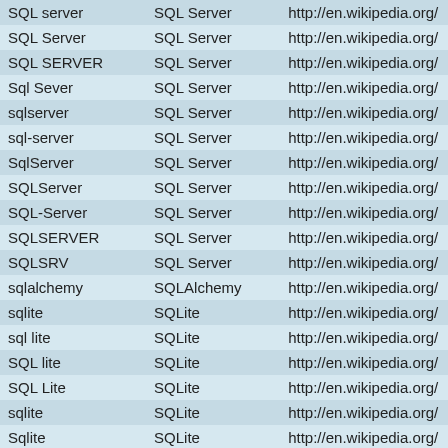| (query term) | (canonical) | http://en.wikipedia.org/... |
| --- | --- | --- |
| SQL server | SQL Server | http://en.wikipedia.org/ |
| SQL Server | SQL Server | http://en.wikipedia.org/ |
| SQL SERVER | SQL Server | http://en.wikipedia.org/ |
| Sql Sever | SQL Server | http://en.wikipedia.org/ |
| sqlserver | SQL Server | http://en.wikipedia.org/ |
| sql-server | SQL Server | http://en.wikipedia.org/ |
| SqlServer | SQL Server | http://en.wikipedia.org/ |
| SQLServer | SQL Server | http://en.wikipedia.org/ |
| SQL-Server | SQL Server | http://en.wikipedia.org/ |
| SQLSERVER | SQL Server | http://en.wikipedia.org/ |
| SQLSRV | SQL Server | http://en.wikipedia.org/ |
| sqlalchemy | SQLAlchemy | http://en.wikipedia.org/ |
| sqlite | SQLite | http://en.wikipedia.org/ |
| sql lite | SQLite | http://en.wikipedia.org/ |
| SQL lite | SQLite | http://en.wikipedia.org/ |
| SQL Lite | SQLite | http://en.wikipedia.org/ |
| sqlite | SQLite | http://en.wikipedia.org/ |
| Sqlite | SQLite | http://en.wikipedia.org/ |
| SqLite | SQLite | http://en.wikipedia.org/ |
| SQLite | SQLite | http://en.wikipedia.org/ |